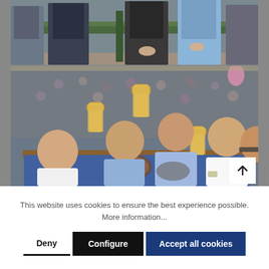[Figure (photo): Two stacked photos: top photo shows several people standing (cropped to torsos/legs) in an indoor setting with green foliage decoration; bottom photo shows a group of people celebrating at Oktoberfest, raising beer steins, seated at a table in a crowded beer tent, with an up-arrow scroll button in the bottom-right corner.]
This website uses cookies to ensure the best experience possible.
More information...
Deny
Configure
Accept all cookies